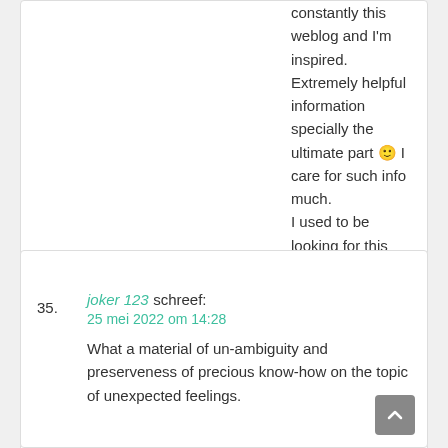constantly this weblog and I'm inspired. Extremely helpful information specially the ultimate part 🙂 I care for such info much.
I used to be looking for this particular info for
a very lengthy time. Thank you and best of luck.
35.
joker 123 schreef:
25 mei 2022 om 14:28
What a material of un-ambiguity and preserveness of precious know-how on the topic of unexpected feelings.